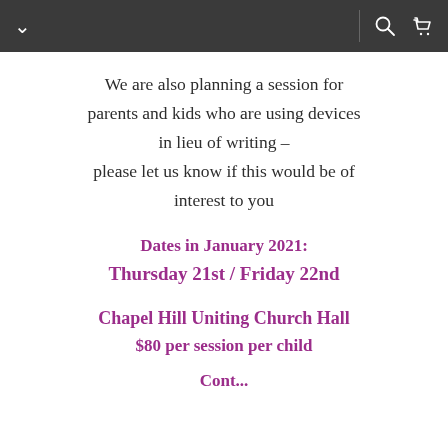navigation bar with menu, search, and cart icons
We are also planning a session for parents and kids who are using devices in lieu of writing – please let us know if this would be of interest to you
Dates in January 2021: Thursday 21st / Friday 22nd
Chapel Hill Uniting Church Hall
$80 per session per child